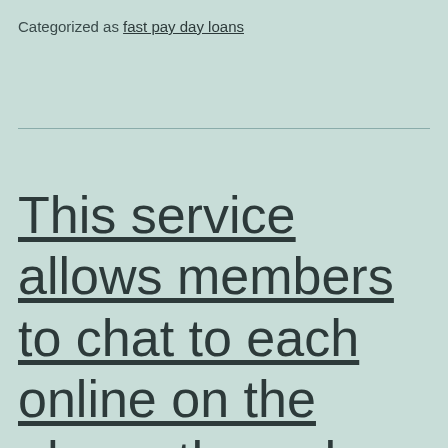Categorized as fast pay day loans
This service allows members to chat to each online on the phone through the dating rather than exchanging phone